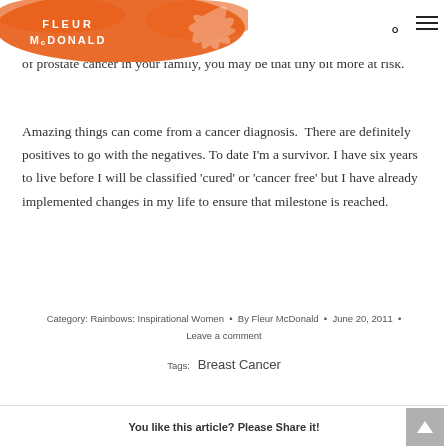Fleur McDonald
of prostate cancer in your family, you may be that tiny bit more at risk.
Amazing things can come from a cancer diagnosis.  There are definitely positives to go with the negatives. To date I'm a survivor. I have six years to live before I will be classified 'cured' or 'cancer free' but I have already implemented changes in my life to ensure that milestone is reached.
Category: Rainbows: Inspirational Women  •  By Fleur McDonald  •  June 20, 2011  •
Leave a comment
Tags:   Breast Cancer
You like this article? Please Share it!